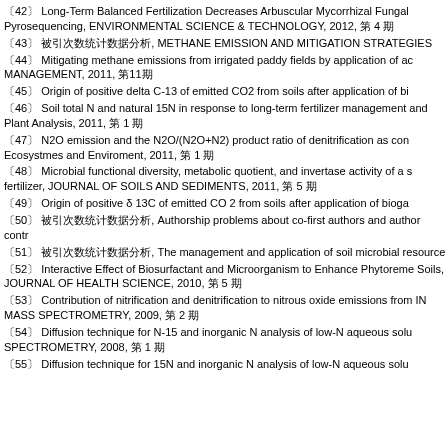042 Long-Term Balanced Fertilization Decreases Arbuscular Mycorrhizal Fungal Pyrosequencing, ENVIRONMENTAL SCIENCE & TECHNOLOGY, 2012, 第4期
043 被引次数统计数据分析, METHANE EMISSION AND MITIGATION STRATEGIES
044 Mitigating methane emissions from irrigated paddy fields by application of ac MANAGEMENT, 2011, 第11期
045 Origin of positive delta C-13 of emitted CO2 from soils after application of bi
046 Soil total N and natural 15N in response to long-term fertilizer management and Plant Analysis, 2011, 第1期
047 N2O emission and the N2O/(N2O+N2) product ratio of denitrification as con Ecosystmes and Enviroment, 2011, 第1期
048 Microbial functional diversity, metabolic quotient, and invertase activity of a s fertilizer, JOURNAL OF SOILS AND SEDIMENTS, 2011, 第5期
049 Origin of positive δ 13C of emitted CO 2 from soils after application of bioga
050 被引次数统计数据分析, Authorship problems about co-first authors and author contr
051 被引次数统计数据分析, The management and application of soil microbial resource
052 Interactive Effect of Biosurfactant and Microorganism to Enhance Phytorem Soils, JOURNAL OF HEALTH SCIENCE, 2010, 第5期
053 Contribution of nitrification and denitrification to nitrous oxide emissions from IN MASS SPECTROMETRY, 2009, 第2期
054 Diffusion technique for N-15 and inorganic N analysis of low-N aqueous solu SPECTROMETRY, 2008, 第1期
055 Diffusion technique for 15N and inorganic N analysis of low-N aqueous solu